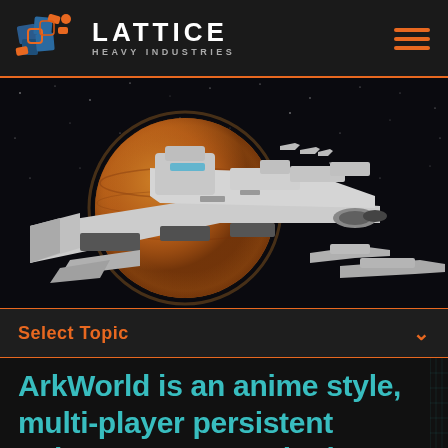[Figure (logo): Lattice Heavy Industries logo with orange and blue geometric hexagonal icon and text 'LATTICE HEAVY INDUSTRIES']
[Figure (photo): Sci-fi spaceship 3D render in space with a large planet in the background and stars, showing a large white/grey capital ship with smaller escort vessels]
Select Topic
ArkWorld is an anime style, multi-player persistent universe game set in the early decades of interstellar